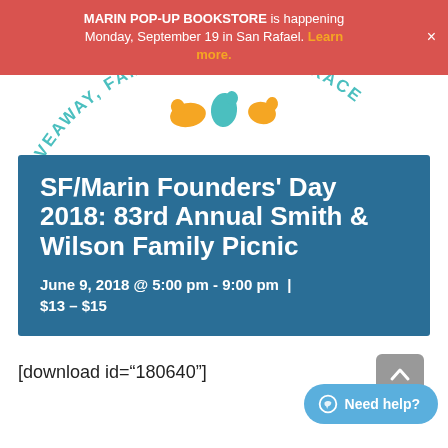MARIN POP-UP BOOKSTORE is happening Monday, September 19 in San Rafael. Learn more. ×
[Figure (illustration): Curved teal text reading '...IVEAWAY, FAMILY FEUD, SACK RACE' in a circular arc with decorative orange and teal animal/running figures in the center]
SF/Marin Founders' Day 2018: 83rd Annual Smith & Wilson Family Picnic
June 9, 2018 @ 5:00 pm - 9:00 pm  |  $13 – $15
[download id="180640"]